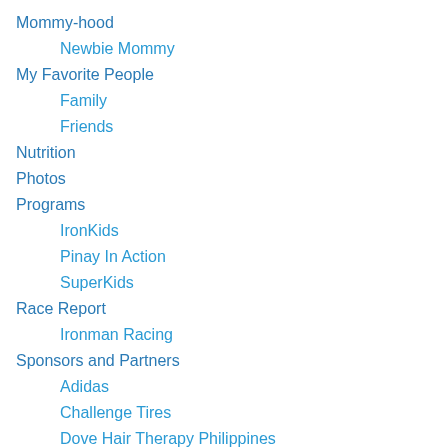Mommy-hood
Newbie Mommy
My Favorite People
Family
Friends
Nutrition
Photos
Programs
IronKids
Pinay In Action
SuperKids
Race Report
Ironman Racing
Sponsors and Partners
Adidas
Challenge Tires
Dove Hair Therapy Philippines
Enervon Activ
Fitness First
Gatorade